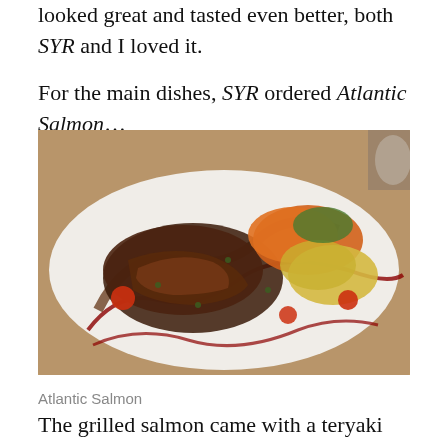looked great and tasted even better, both SYR and I loved it.
For the main dishes, SYR ordered Atlantic Salmon…
[Figure (photo): A plated restaurant dish of Atlantic Salmon with teryaki sauce, grilled vegetables including carrots, cauliflower, and cherry tomatoes, served on a white plate with decorative red sauce drizzle.]
Atlantic Salmon
The grilled salmon came with a teryaki sauce and some vegetables. There was something difficult about the taste...